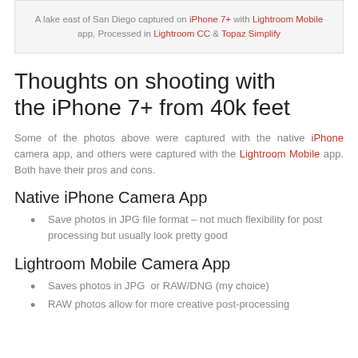A lake east of San Diego captured on iPhone 7+ with Lightroom Mobile app, Processed in Lightroom CC & Topaz Simplify
Thoughts on shooting with the iPhone 7+ from 40k feet
Some of the photos above were captured with the native iPhone camera app, and others were captured with the Lightroom Mobile app. Both have their pros and cons.
Native iPhone Camera App
Save photos in JPG file format – not much flexibility for post processing but usually look pretty good
Lightroom Mobile Camera App
Saves photos in JPG  or RAW/DNG (my choice)
RAW photos allow for more creative post-processing